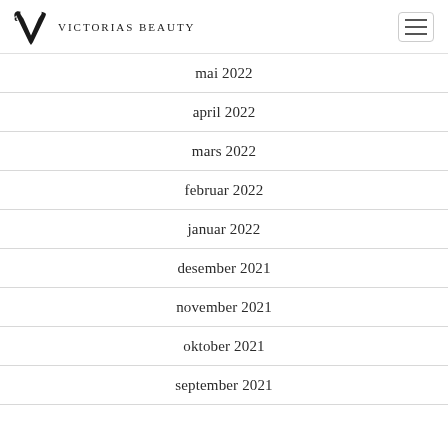Victorias Beauty
mai 2022
april 2022
mars 2022
februar 2022
januar 2022
desember 2021
november 2021
oktober 2021
september 2021